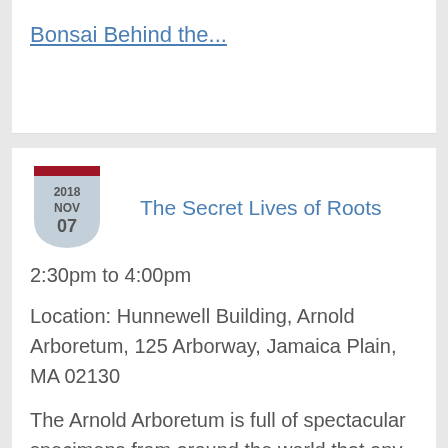Bonsai Behind the...
The Secret Lives of Roots
2:30pm to 4:00pm
Location: Hunnewell Building, Arnold Arboretum, 125 Arborway, Jamaica Plain, MA 02130
The Arnold Arboretum is full of spectacular specimens from around the world that any visitor will appreciate. However, what they observe is only half the story. How a